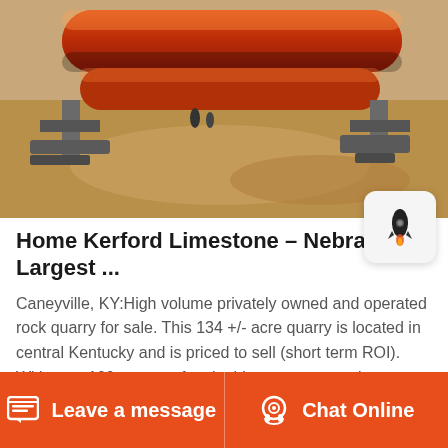[Figure (photo): Industrial rotary drum or kiln equipment (large orange cylindrical drums) at an outdoor quarry construction site with sandy/earthen ground]
Home Kerford Limestone - Nebraska's Largest ...
Caneyville, KY:High volume privately owned and operated rock quarry for sale. This 134 +/- acre quarry is located in central Kentucky and is priced to sell (short term ROI). With over 100+ years of rock, this quarry currently manufactures most common sizes of rock, from Agricultural Lime (1/8", 9", and 6x10") road
Leave a message   Chat Online